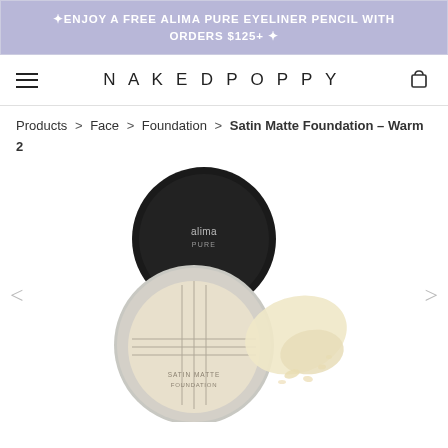✦ENJOY A FREE ALIMA PURE EYELINER PENCIL WITH ORDERS $125+ ✦
NAKEDPOPPY
Products > Face > Foundation > Satin Matte Foundation – Warm 2
[Figure (photo): Product photo of Alima Pure loose powder foundation compact with black lid open, showing cream/ivory powder inside. A swatch of pale warm beige powder is shown to the right. Navigation arrows on left and right sides.]